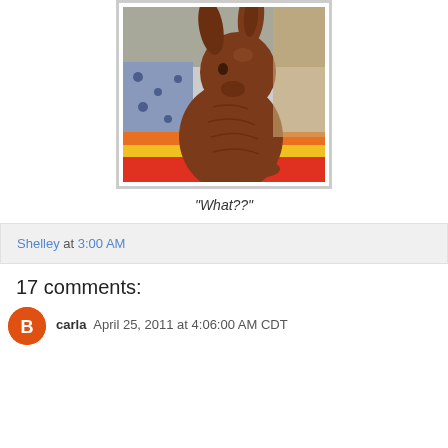[Figure (photo): Close-up photograph of a chocolate Easter bunny figurine sitting on a colorful striped surface (blue, orange, yellow, red stripes). The bunny is molded milk chocolate brown color, showing detailed fur texture and facial features. The image has a white border/frame around it.]
"What??"
Shelley at 3:00 AM
17 comments:
carla April 25, 2011 at 4:06:00 AM CDT